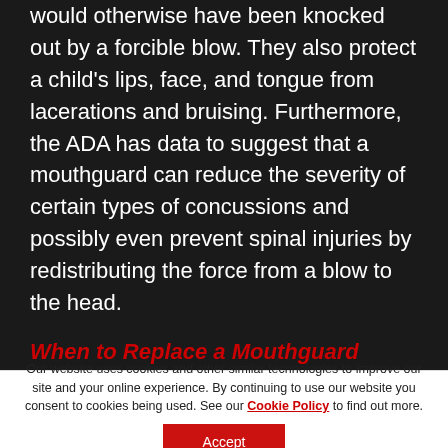would otherwise have been knocked out by a forcible blow. They also protect a child's lips, face, and tongue from lacerations and bruising. Furthermore, the ADA has data to suggest that a mouthguard can reduce the severity of certain types of concussions and possibly even prevent spinal injuries by redistributing the force from a blow to the head.
When to Replace a Mouthguard
Our website uses cookies and other similar technologies to improve our site and your online experience. By continuing to use our website you consent to cookies being used. See our Cookie Policy to find out more.